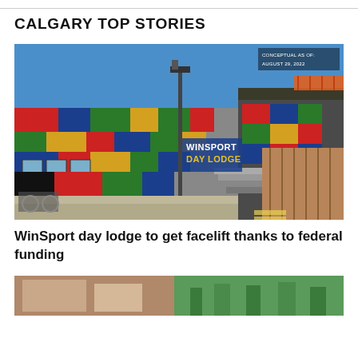CALGARY TOP STORIES
[Figure (photo): WinSport Day Lodge building exterior with colorful block facade in red, green, blue, yellow colors. Sign reads 'WINSPORT DAY LODGE'. Conceptual as of August 29, 2022 label in top right corner.]
WinSport day lodge to get facelift thanks to federal funding
[Figure (photo): Partial view of another building or street scene, cropped at bottom of page.]